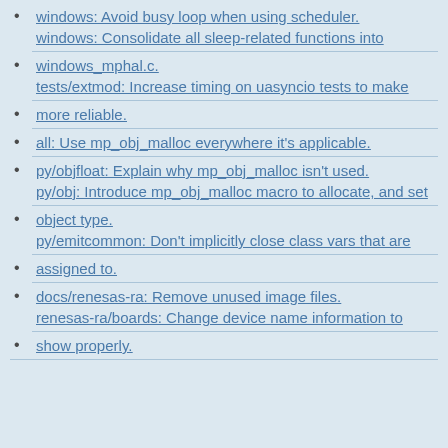windows: Avoid busy loop when using scheduler.
windows: Consolidate all sleep-related functions into
windows_mphal.c.
tests/extmod: Increase timing on uasyncio tests to make
more reliable.
all: Use mp_obj_malloc everywhere it's applicable.
py/objfloat: Explain why mp_obj_malloc isn't used.
py/obj: Introduce mp_obj_malloc macro to allocate, and set
object type.
py/emitcommon: Don't implicitly close class vars that are
assigned to.
docs/renesas-ra: Remove unused image files.
renesas-ra/boards: Change device name information to
show properly.
shaoziyang
Re: 2022年5月更新
#2  2022年 5月 6日 15:41